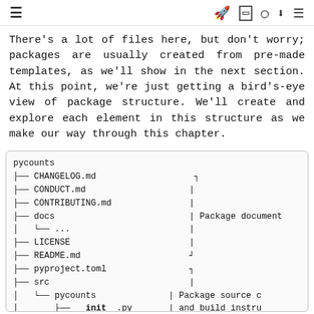≡  🚀  [ ]  ⊙  ⬇  ☰
There's a lot of files here, but don't worry; packages are usually created from pre-made templates, as we'll show in the next section. At this point, we're just getting a bird's-eye view of package structure. We'll create and explore each element in this structure as we make our way through this chapter.
[Figure (other): Directory tree showing pycounts package structure with files: CHANGELOG.md, CONDUCT.md, CONTRIBUTING.md, docs/..., LICENSE, README.md, pyproject.toml, src/pycounts/__init__.py, moduleA.py. Annotations on the right indicate 'Package document' and 'Package source c and build instru'.]